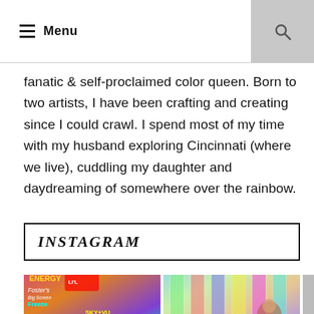Menu
fanatic & self-proclaimed color queen. Born to two artists, I have been crafting and creating since I could crawl. I spend most of my time with my husband exploring Cincinnati (where we live), cuddling my daughter and daydreaming of somewhere over the rainbow.
INSTAGRAM
[Figure (photo): Two colorful Instagram photos side by side: left shows neon signs at what appears to be a fair or arcade with text including 'Foster's Big Screen Freeze', 'SKY+VU', and other bright neon signage; right shows a colorful stained-glass or rainbow light installation with a person visible.]